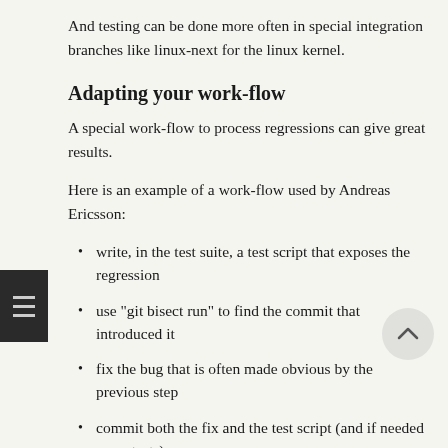And testing can be done more often in special integration branches like linux-next for the linux kernel.
Adapting your work-flow
A special work-flow to process regressions can give great results.
Here is an example of a work-flow used by Andreas Ericsson:
write, in the test suite, a test script that exposes the regression
use "git bisect run" to find the commit that introduced it
fix the bug that is often made obvious by the previous step
commit both the fix and the test script (and if needed more tests)